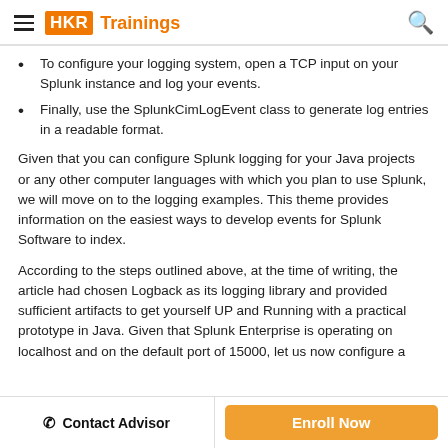HKR Trainings
To configure your logging system, open a TCP input on your Splunk instance and log your events.
Finally, use the SplunkCimLogEvent class to generate log entries in a readable format.
Given that you can configure Splunk logging for your Java projects or any other computer languages with which you plan to use Splunk, we will move on to the logging examples. This theme provides information on the easiest ways to develop events for Splunk Software to index.
According to the steps outlined above, at the time of writing, the article had chosen Logback as its logging library and provided sufficient artifacts to get yourself UP and Running with a practical prototype in Java. Given that Splunk Enterprise is operating on localhost and on the default port of 15000, let us now configure a
Contact Advisor  |  Enroll Now